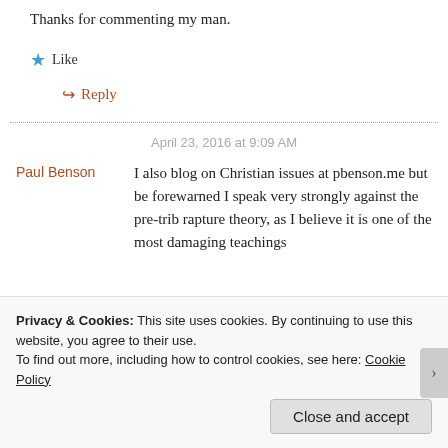Thanks for commenting my man.
★ Like
↪ Reply
April 23, 2016 at 9:09 AM
Paul Benson
I also blog on Christian issues at pbenson.me but be forewarned I speak very strongly against the pre-trib rapture theory, as I believe it is one of the most damaging teachings
Privacy & Cookies: This site uses cookies. By continuing to use this website, you agree to their use. To find out more, including how to control cookies, see here: Cookie Policy
Close and accept